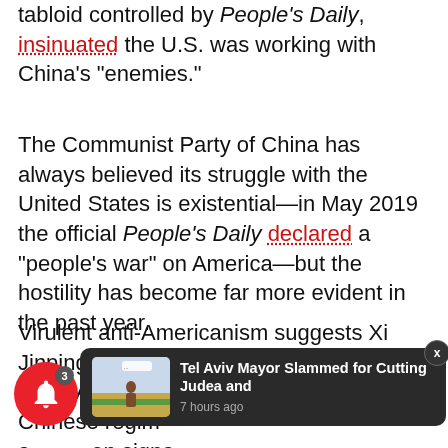tabloid controlled by People's Daily, insinuated the U.S. was working with China's "enemies."
The Communist Party of China has always believed its struggle with the United States is existential—in May 2019 the official People's Daily declared a "people's war" on America—but the hostility has become far more evident in the past year.
Virulent anti-Americanism suggests Xi Jinping is establishing a justification to strike America. The Chinese regime has given signals...
[Figure (screenshot): A dark popup notification overlay showing a thumbnail image of a desert scene with a robed figure, with text 'Tel Aviv Mayor Slammed for Cutting Judea and' and '7 hours ago'. A red notification bell icon with badge '3' is in the bottom left. An X close button is visible top right of the popup.]